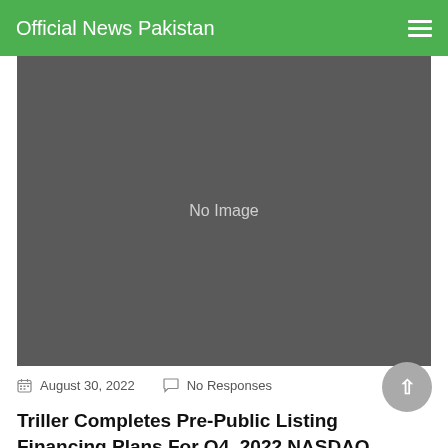Official News Pakistan
[Figure (photo): No Image placeholder — dark grey rectangle with 'No Image' text centered]
August 30, 2022   No Responses
Triller Completes Pre-Public Listing Financing Plans For Q4, 2022 NASDAQ listing:ILLR, Also